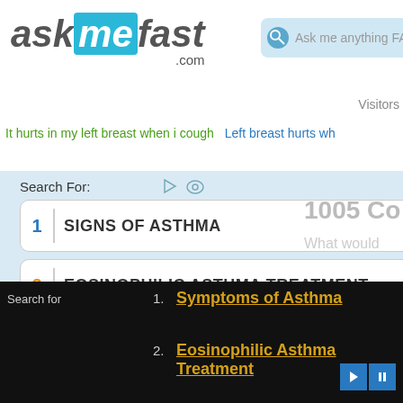[Figure (screenshot): AskMeFast.com website logo with teal background on 'me' segment]
Ask me anything FAST!
Visitors
It hurts in my left breast when i cough   Left breast hurts wh
Search For:
1 SIGNS OF ASTHMA
2 EOSINOPHILIC ASTHMA TREATMENT
3 COMMON ASTHMA SYMPTOMS
4 BEST ASTHMA MEDICATION
1005 Co
What would
Search for
1. Symptoms of Asthma
2. Eosinophilic Asthma Treatment